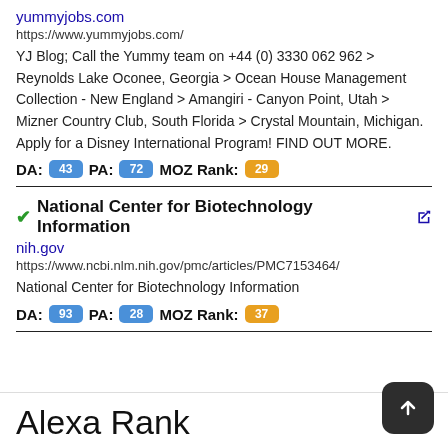yummyjobs.com
https://www.yummyjobs.com/
YJ Blog; Call the Yummy team on +44 (0) 3330 062 962 > Reynolds Lake Oconee, Georgia > Ocean House Management Collection - New England > Amangiri - Canyon Point, Utah > Mizner Country Club, South Florida > Crystal Mountain, Michigan. Apply for a Disney International Program! FIND OUT MORE.
DA: 43 PA: 72 MOZ Rank: 29
National Center for Biotechnology Information
nih.gov
https://www.ncbi.nlm.nih.gov/pmc/articles/PMC7153464/
National Center for Biotechnology Information
DA: 93 PA: 28 MOZ Rank: 37
Alexa Rank